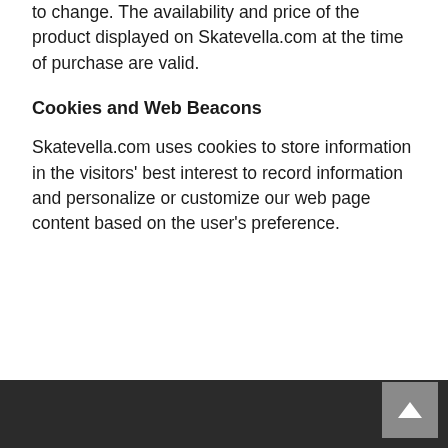to change. The availability and price of the product displayed on Skatevella.com at the time of purchase are valid.
Cookies and Web Beacons
Skatevella.com uses cookies to store information in the visitors' best interest to record information and personalize or customize our web page content based on the user's preference.